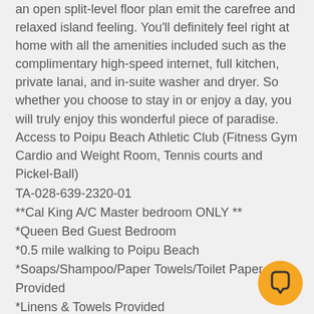an open split-level floor plan emit the carefree and relaxed island feeling. You'll definitely feel right at home with all the amenities included such as the complimentary high-speed internet, full kitchen, private lanai, and in-suite washer and dryer. So whether you choose to stay in or enjoy a day, you will truly enjoy this wonderful piece of paradise. Access to Poipu Beach Athletic Club (Fitness Gym Cardio and Weight Room, Tennis courts and Pickel-Ball)
TA-028-639-2320-01
**Cal King A/C Master bedroom ONLY **
*Queen Bed Guest Bedroom
*0.5 mile walking to Poipu Beach
*Soaps/Shampoo/Paper Towels/Toilet Paper Provided
*Linens & Towels Provided
*Pets Not Allowed
*Washer and dryer
*Ceiling fans
[Figure (illustration): Orange circular chat/message button icon in the bottom right corner]